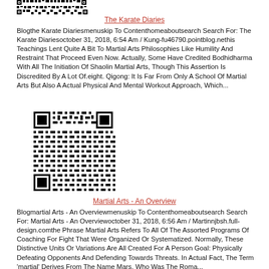[Figure (other): Partial QR code visible at top of page]
The Karate Diaries
Blogthe Karate Diariesmenuskip To Contenthomeaboutsearch Search For: The Karate Diariesoctober 31, 2018, 6:54 Am / Kung-fu46790.pointblog.nethis Teachings Lent Quite A Bit To Martial Arts Philosophies Like Humility And Restraint That Proceed Even Now. Actually, Some Have Credited Bodhidharma With All The Initiation Of Shaolin Martial Arts, Though This Assertion Is Discredited By A Lot Of.eight. Qigong: It Is Far From Only A School Of Martial Arts But Also A Actual Physical And Mental Workout Approach, Which...
[Figure (other): QR code image in the middle of the page]
Martial Arts - An Overview
Blogmartial Arts - An Overviewmenuskip To Contenthomeaboutsearch Search For: Martial Arts - An Overviewoctober 31, 2018, 6:56 Am / Martinnjbsh.full-design.comthe Phrase Martial Arts Refers To All Of The Assorted Programs Of Coaching For Fight That Were Organized Or Systematized. Normally, These Distinctive Units Or Variations Are All Created For A Person Goal: Physically Defeating Opponents And Defending Towards Threats. In Actual Fact, The Term 'martial' Derives From The Name Mars, Who Was The Roma...